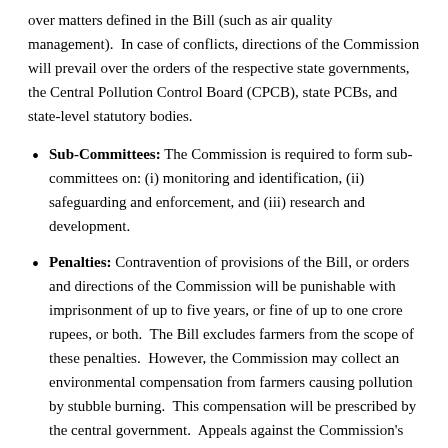over matters defined in the Bill (such as air quality management).  In case of conflicts, directions of the Commission will prevail over the orders of the respective state governments, the Central Pollution Control Board (CPCB), state PCBs, and state-level statutory bodies.
Sub-Committees: The Commission is required to form sub-committees on: (i) monitoring and identification, (ii) safeguarding and enforcement, and (iii) research and development.
Penalties: Contravention of provisions of the Bill, or orders and directions of the Commission will be punishable with imprisonment of up to five years, or fine of up to one crore rupees, or both.  The Bill excludes farmers from the scope of these penalties.  However, the Commission may collect an environmental compensation from farmers causing pollution by stubble burning.  This compensation will be prescribed by the central government.  Appeals against the Commission's orders